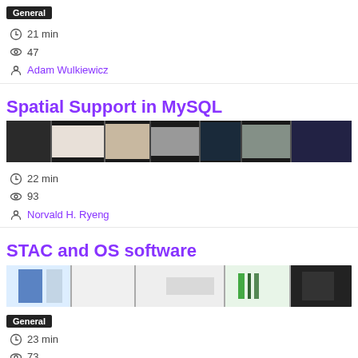General
21 min
47
Adam Wulkiewicz
Spatial Support in MySQL
[Figure (screenshot): Thumbnail strip image for Spatial Support in MySQL talk]
22 min
93
Norvald H. Ryeng
STAC and OS software
[Figure (screenshot): Thumbnail strip image for STAC and OS software talk]
General
23 min
73
Matthew Hanson
Stac-chat: spatiotemporal assets in your